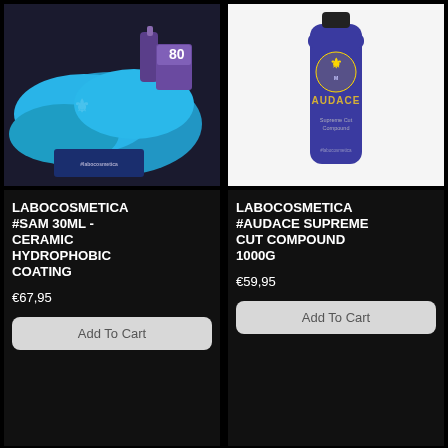[Figure (photo): Product photo of Labocosmetica #SAM 30ML ceramic coating kit with blue microfiber cloths, small bottle, box labelled 80, and a branded card on dark background]
[Figure (photo): Product photo of Labocosmetica #Audace Supreme Cut Compound 1000g in a blue bottle with gold logo on white background]
LABOCOSMETICA #SAM 30ML - CERAMIC HYDROPHOBIC COATING
€67,95
Add To Cart
LABOCOSMETICA #AUDACE SUPREME CUT COMPOUND 1000g
€59,95
Add To Cart